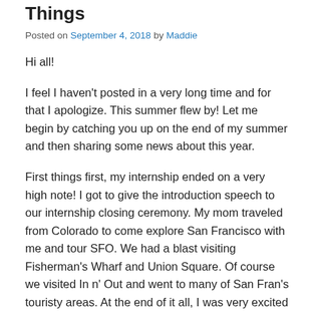Things
Posted on September 4, 2018 by Maddie
Hi all!
I feel I haven't posted in a very long time and for that I apologize. This summer flew by! Let me begin by catching you up on the end of my summer and then sharing some news about this year.
First things first, my internship ended on a very high note! I got to give the introduction speech to our internship closing ceremony. My mom traveled from Colorado to come explore San Francisco with me and tour SFO. We had a blast visiting Fisherman's Wharf and Union Square. Of course we visited In n' Out and went to many of San Fran's touristy areas. At the end of it all, I was very excited to head home for a week before returning for RA (Resident Adviser), SGA (Student